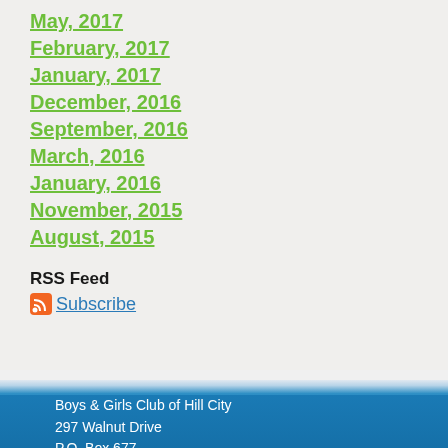May, 2017
February, 2017
January, 2017
December, 2016
September, 2016
March, 2016
January, 2016
November, 2015
August, 2015
RSS Feed
Subscribe
Boys & Girls Club of Hill City
297 Walnut Drive
P.O. Box 677
Hill City, SD 57745